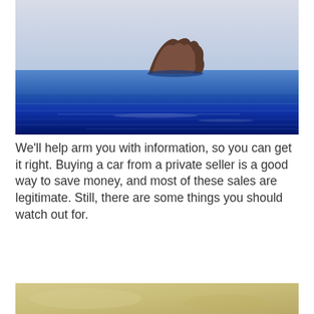[Figure (photo): Ocean scene with a rocky island or sea stack visible in calm blue water, pale sky above]
We'll help arm you with information, so you can get it right. Buying a car from a private seller is a good way to save money, and most of these sales are legitimate. Still, there are some things you should watch out for.
Friseur kreativ östringen
[Figure (photo): Bottom portion of a second photo, showing a sandy or beige-toned landscape, partially visible]